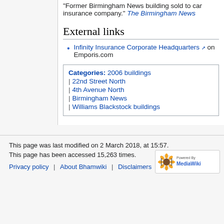Former Birmingham News building sold to car insurance company." The Birmingham News
External links
Infinity Insurance Corporate Headquarters on Emporis.com
| Categories |
| --- |
| 2006 buildings |
| 22nd Street North |
| 4th Avenue North |
| Birmingham News |
| Williams Blackstock buildings |
This page was last modified on 2 March 2018, at 15:57.
This page has been accessed 15,263 times.
Privacy policy  About Bhamwiki  Disclaimers